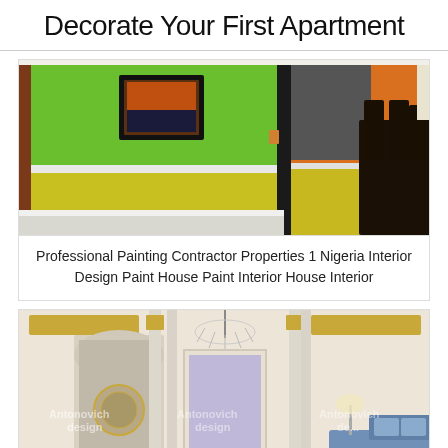Decorate Your First Apartment
[Figure (photo): Interior room with bright green upper wall, yellow lower wall with white chair rail molding, and orange accent wall visible through doorway; dark wood dining furniture on right]
Professional Painting Contractor Properties 1 Nigeria Interior Design Paint House Paint Interior House Interior
[Figure (photo): Luxury ivory and gold ornate interior room with crystal chandelier, arched doorway with decorative medallion, framed artwork, and blue upholstered furniture; Antonovich Design watermarks visible; red CLOSE button at bottom center]